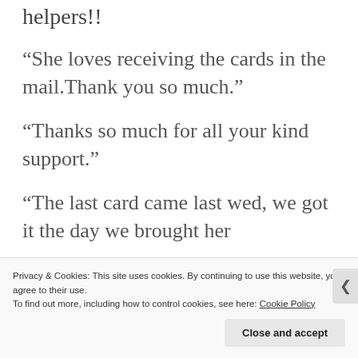helpers!!
“She loves receiving the cards in the mail.Thank you so much.”
“Thanks so much for all your kind support.”
“The last card came last wed, we got it the day we brought her home from the hosp…
Privacy & Cookies: This site uses cookies. By continuing to use this website, you agree to their use.
To find out more, including how to control cookies, see here: Cookie Policy
Close and accept